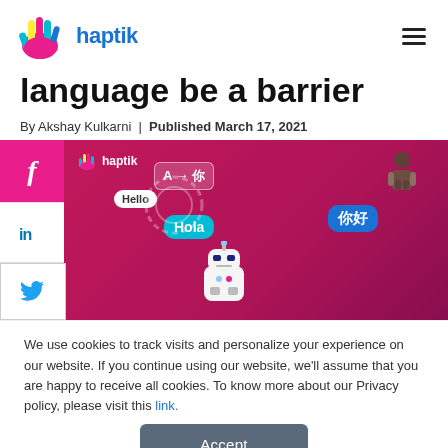haptik
language be a barrier
By Akshay Kulkarni  |  Published March 17, 2021
[Figure (illustration): Haptik branded illustration showing a chatbot robot with multilingual greetings (Hello, Hola, 你好) and translation icons on a magenta/pink background, with social media share buttons (Facebook, LinkedIn, Twitter) on the left side.]
We use cookies to track visits and personalize your experience on our website. If you continue using our website, we'll assume that you are happy to receive all cookies. To know more about our Privacy policy, please visit this link.